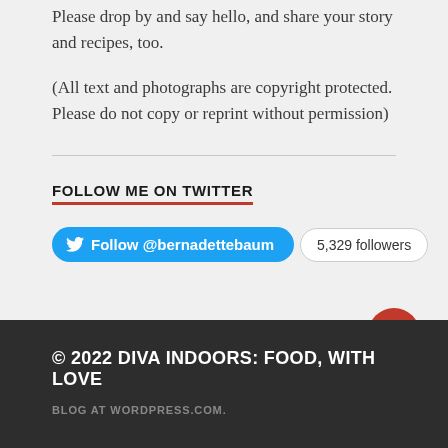Please drop by and say hello, and share your story and recipes, too.
(All text and photographs are copyright protected. Please do not copy or reprint without permission)
FOLLOW ME ON TWITTER
[Figure (other): Twitter follow button for @bernadettebaum with 5,329 followers badge]
© 2022 DIVA INDOORS: FOOD, WITH LOVE
BLOG AT WORDPRESS.COM.